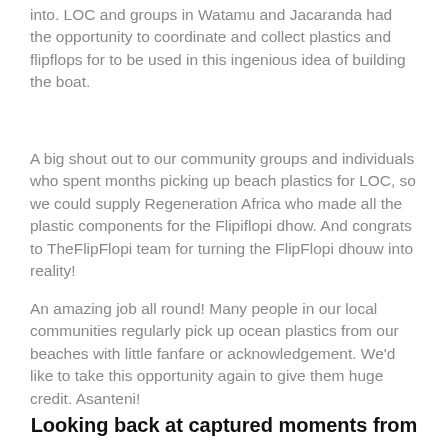into.  LOC and groups in Watamu and Jacaranda had the opportunity to coordinate and collect plastics and flipflops for to be used in this ingenious idea of building the boat.
A big shout out to our community groups and individuals who spent months picking up beach plastics for LOC, so we could supply Regeneration Africa who made all the plastic components for the Flipiflopi dhow. And congrats to TheFlipFlopi team for turning the FlipFlopi dhouw into reality!
An amazing job all round! Many people in our local communities regularly pick up ocean plastics from our beaches with little fanfare or acknowledgement. We'd like to take this opportunity again to give them huge credit. Asanteni!
Looking back at captured moments from